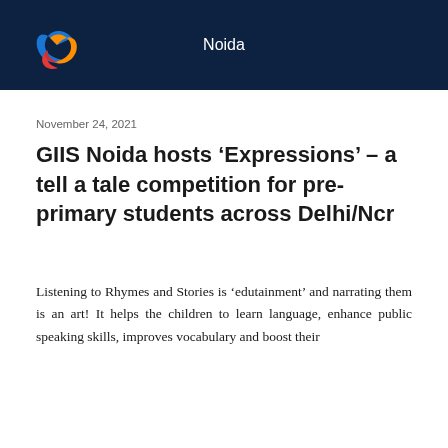Noida
November 24, 2021
GIIS Noida hosts ‘Expressions’ – a tell a tale competition for pre-primary students across Delhi/Ncr
Listening to Rhymes and Stories is ‘edutainment’ and narrating them is an art! It helps the children to learn language, enhance public speaking skills, improves vocabulary and boost their